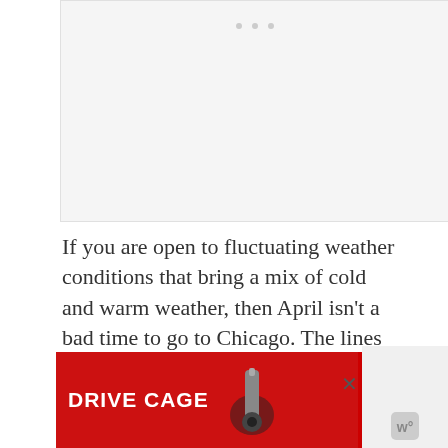[Figure (other): Light gray placeholder image area with three small dots at the top center, suggesting an image carousel or loading state]
If you are open to fluctuating weather conditions that bring a mix of cold and warm weather, then April isn't a bad time to go to Chicago. The lines are shorter at the major attractions and the hotel prices are lower, but you might be wrestling with
[Figure (other): Advertisement banner: red background with white text 'DRIVE CAGE' and an archery/bow equipment image, alongside black background with 'Ripcord Arrow Rest' logo in white and teal. Has a learn more button, an X close button, and share count of 1.]